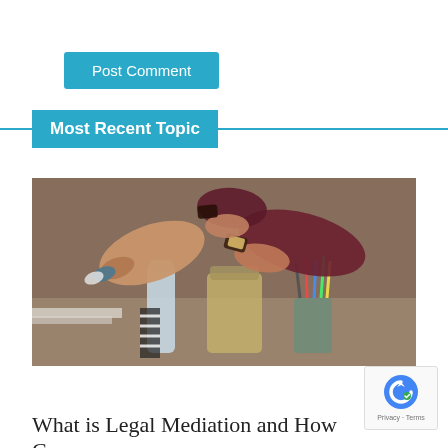Post Comment
Most Recent Topic
[Figure (photo): People doing a group fist bump over a table with various items including a water bottle, a glass jar, and cups with pens, symbolizing teamwork or agreement]
Legal
What is Legal Mediation and How Can